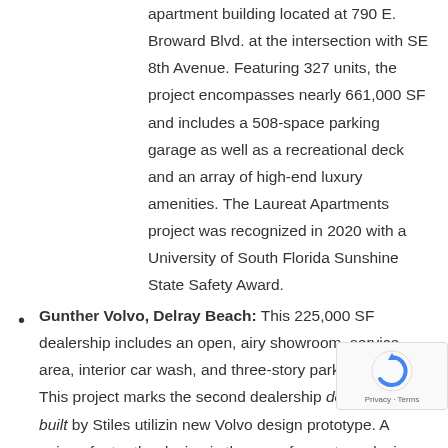apartment building located at 790 E. Broward Blvd. at the intersection with SE 8th Avenue. Featuring 327 units, the project encompasses nearly 661,000 SF and includes a 508-space parking garage as well as a recreational deck and an array of high-end luxury amenities. The Laureat Apartments project was recognized in 2020 with a University of South Florida Sunshine State Safety Award.
Gunther Volvo, Delray Beach: This 225,000 SF dealership includes an open, airy showroom, service area, interior car wash, and three-story parking garage. This project marks the second dealership designed and built by Stiles utilizing new Volvo design prototype. A unique feature the design is the use of a custom glazing system of